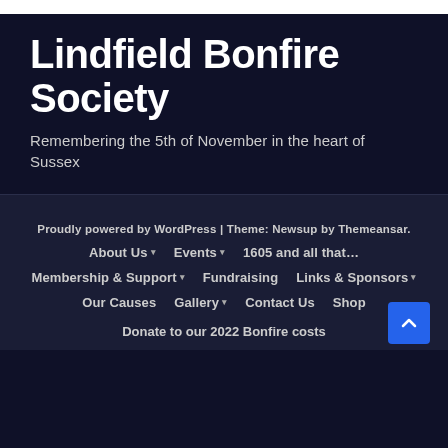Lindfield Bonfire Society
Remembering the 5th of November in the heart of Sussex
Proudly powered by WordPress | Theme: Newsup by Themeansar.
About Us ▾
Events ▾
1605 and all that…
Membership & Support ▾
Fundraising
Links & Sponsors ▾
Our Causes
Gallery ▾
Contact Us
Shop
Donate to our 2022 Bonfire costs